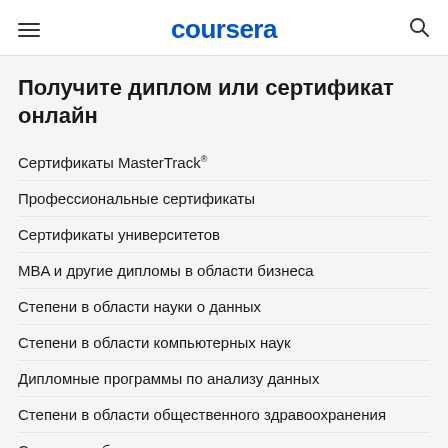coursera
Получите диплом или сертификат онлайн
Сертификаты MasterTrack®
Профессиональные сертификаты
Сертификаты университетов
MBA и другие дипломы в области бизнеса
Степени в области науки о данных
Степени в области компьютерных наук
Дипломные программы по анализу данных
Степени в области общественного здравоохранения
Степени в области социальных наук
Дипломные программы в области управления
Дипломы ведущих европейских университетов
Дипломы магистра